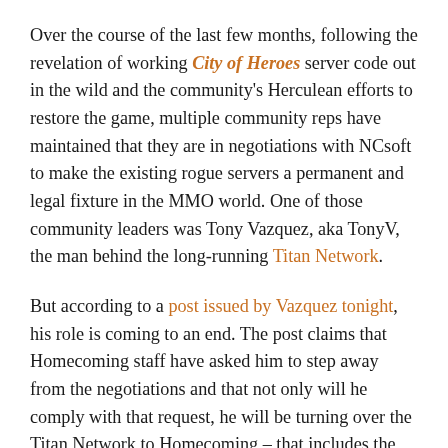Over the course of the last few months, following the revelation of working City of Heroes server code out in the wild and the community's Herculean efforts to restore the game, multiple community reps have maintained that they are in negotiations with NCsoft to make the existing rogue servers a permanent and legal fixture in the MMO world. One of those community leaders was Tony Vazquez, aka TonyV, the man behind the long-running Titan Network.
But according to a post issued by Vazquez tonight, his role is coming to an end. The post claims that Homecoming staff have asked him to step away from the negotiations and that not only will he comply with that request, he will be turning over the Titan Network to Homecoming – that includes the Paragon Wiki, Paragon Chat, the forums, the City Info Tracker, among other tools. "It just doesn't make sense to me